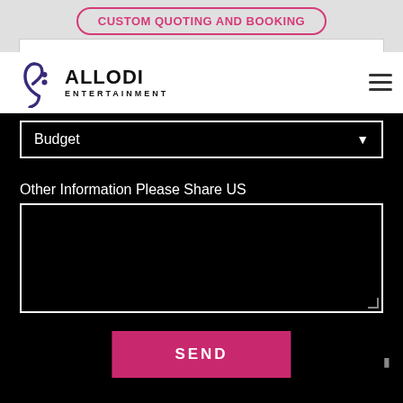[Figure (screenshot): Custom Quoting and Booking button with pink border and text on a light gray background bar]
[Figure (logo): Allodi Entertainment logo with bass clef musical note icon in dark purple and company name text]
Budget
Other Information Please Share US
[Figure (screenshot): Black textarea input box for additional information]
SEND